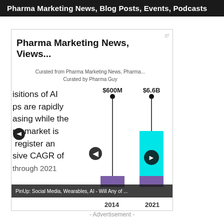Pharma Marketing News, Blog Posts, Events, Podcasts
Pharma Marketing News, Views...
Curated from Pharma Marketing News, Pharma...
Curated by Pharma Guy
[Figure (bar-chart): AI market growth 2014-2021]
isitions of AI
ps are rapidly
asing while the
market is
register an
sive CAGR of
through 2021
PinUp: Social Media, Wearables, AI - Will Any of ...
- Advertisement -